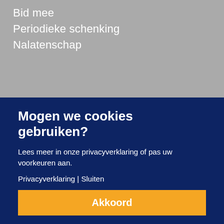Bid mee
Periodieke schenking
Nalatenschap
Mogen we cookies gebruiken?
Lees meer in onze privacyverklaring of pas uw voorkeuren aan.
Privacyverklaring | Sluiten
Akkoord
Voorkeuren aanpassen